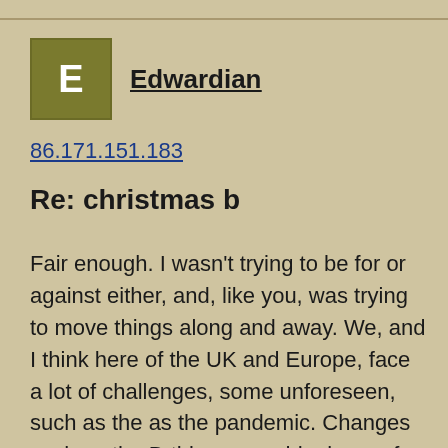Edwardian
86.171.151.183
Re: christmas b
Fair enough. I wasn't trying to be for or against either, and, like you, was trying to move things along and away. We, and I think here of the UK and Europe, face a lot of challenges, some unforeseen, such as the as the pandemic. Changes such as the B-thing can add a layer of complexity and difficulty, though occasionally they can streamline a solution. But these issues have so many moving parts, it's ultimately hard to judge effect and almost impossible to construct a sensible counter-factual scenario for comparison. What am I saying? Well, apart from supporting the consensus that no good can